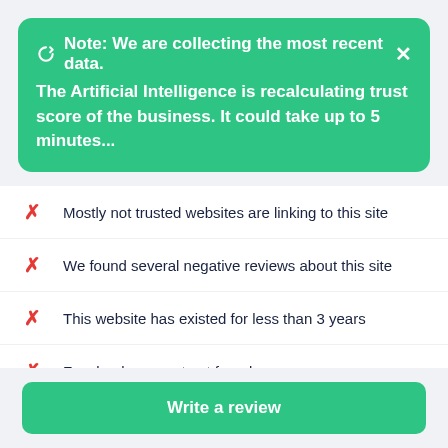Note: We are collecting the most recent data. The Artificial Intelligence is recalculating trust score of the business. It could take up to 5 minutes...
Mostly not trusted websites are linking to this site
We found several negative reviews about this site
This website has existed for less than 3 years
Facebook account not found
Instagram account not found
Business not mentioned on Wikipedia
Pinterest account not found
Write a review